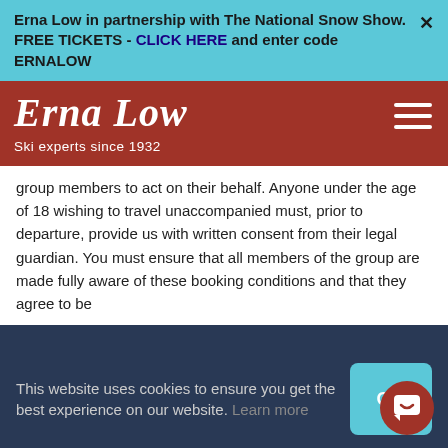Erna Low in partnership with The National Snow Show. FREE TICKETS - CLICK HERE and enter code ERNALOW
[Figure (logo): Erna Low logo in white cursive script on dark red background, with tagline 'Ski experts since 1932' and hamburger menu icon]
group members to act on their behalf. Anyone under the age of 18 wishing to travel unaccompanied must, prior to departure, provide us with written consent from their legal guardian. You must ensure that all members of the group are made fully aware of these booking conditions and that they agree to be
This website uses cookies to ensure you get the best experience on our website. Learn more